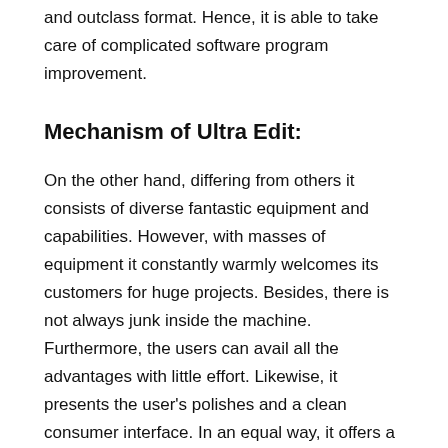and outclass format. Hence, it is able to take care of complicated software program improvement.
Mechanism of Ultra Edit:
On the other hand, differing from others it consists of diverse fantastic equipment and capabilities. However, with masses of equipment it constantly warmly welcomes its customers for huge projects. Besides, there is not always junk inside the machine. Furthermore, the users can avail all the advantages with little effort. Likewise, it presents the user's polishes and a clean consumer interface. In an equal way, it offers a smooth get right of entry to critical alternatives. Similarly, UltraEdit is one of the well-known and smooth to apply the textual